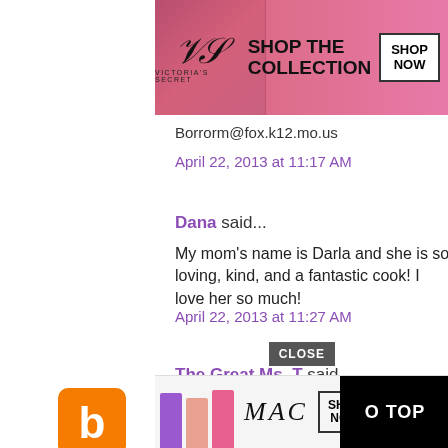[Figure (screenshot): Victoria's Secret advertisement banner showing a model and SHOP THE COLLECTION / SHOP NOW buttons on pink background]
Borrorm@fox.k12.mo.us
April 22, 2013 at 11:17 AM
Dana said...
My mom's name is Darla and she is so loving, kind, and a fantastic cook! I love her so much!
April 22, 2013 at 11:27 AM
The Great Ms. T said...
My mom's name is Kathy, the thing I appreciate her mo... her willingness to sacrifice for her children.
[Figure (logo): Blogger orange B logo icon]
[Figure (screenshot): MAC cosmetics advertisement banner with lipsticks, SHOP NOW button, and TO TOP button]